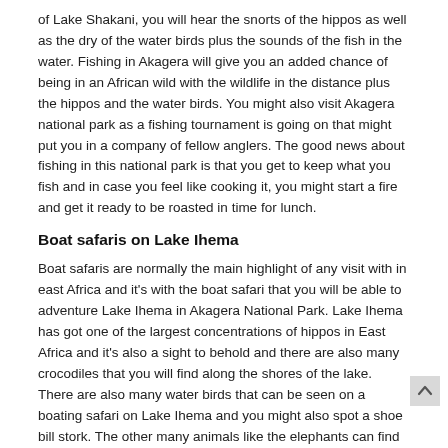of Lake Shakani, you will hear the snorts of the hippos as well as the dry of the water birds plus the sounds of the fish in the water. Fishing in Akagera will give you an added chance of being in an African wild with the wildlife in the distance plus the hippos and the water birds. You might also visit Akagera national park as a fishing tournament is going on that might put you in a company of fellow anglers. The good news about fishing in this national park is that you get to keep what you fish and in case you feel like cooking it, you might start a fire and get it ready to be roasted in time for lunch.
Boat safaris on Lake Ihema
Boat safaris are normally the main highlight of any visit with in east Africa and it's with the boat safari that you will be able to adventure Lake Ihema in Akagera National Park. Lake Ihema has got one of the largest concentrations of hippos in East Africa and it's also a sight to behold and there are also many crocodiles that you will find along the shores of the lake. There are also many water birds that can be seen on a boating safari on Lake Ihema and you might also spot a shoe bill stork. The other many animals like the elephants can find their way to the water to bathe and you will get the opportunity of getting closer to them than you would be in the vehicle on any game drive.
Surrounded by cultivated hills, that are so much a part of Rwanda scenery, the scenery of Akagera national Park is quite simply beautiful. The landscape is low, composed of wide plains dominated by grass, cactus-like Euphorbia candelabra...